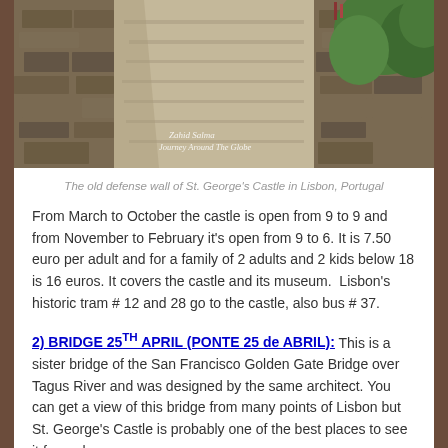[Figure (photo): Photo of the old defense wall of St. George's Castle in Lisbon, Portugal — a stone pathway between ancient stone walls with green trees on the right.]
The old defense wall of St. George's Castle in Lisbon, Portugal
From March to October the castle is open from 9 to 9 and from November to February it's open from 9 to 6. It is 7.50 euro per adult and for a family of 2 adults and 2 kids below 18 is 16 euros. It covers the castle and its museum.  Lisbon's historic tram # 12 and 28 go to the castle, also bus # 37.
2) BRIDGE 25TH APRIL (PONTE 25 de ABRIL): This is a sister bridge of the San Francisco Golden Gate Bridge over Tagus River and was designed by the same architect. You can get a view of this bridge from many points of Lisbon but St. George's Castle is probably one of the best places to see it from also.